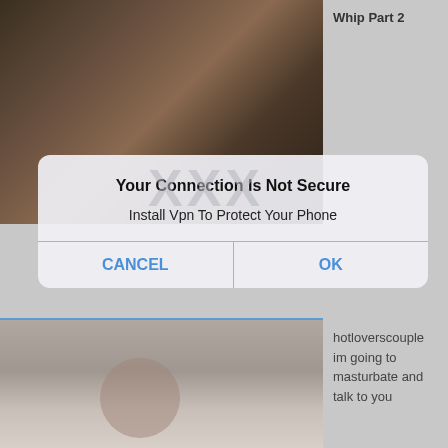[Figure (photo): Video thumbnail showing a person, blurred/dark background]
Whip Part 2
[Figure (screenshot): Mobile dialog overlay reading: Your Connection Is Not Secure / Install Vpn To Protect Your Phone, with CANCEL and OK buttons, and XXX watermark]
[Figure (photo): Video thumbnail showing a person looking upward, light background]
hotloverscouple im going to masturbate and talk to you